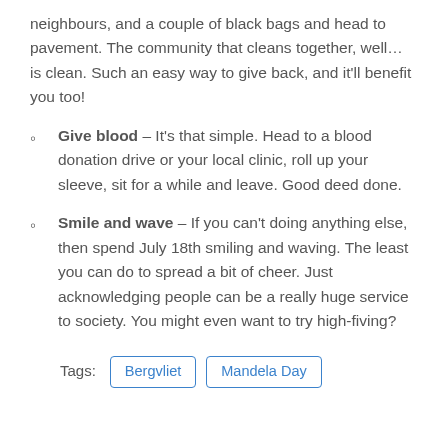neighbours, and a couple of black bags and head to pavement. The community that cleans together, well… is clean. Such an easy way to give back, and it'll benefit you too!
Give blood – It's that simple. Head to a blood donation drive or your local clinic, roll up your sleeve, sit for a while and leave. Good deed done.
Smile and wave – If you can't doing anything else, then spend July 18th smiling and waving. The least you can do to spread a bit of cheer. Just acknowledging people can be a really huge service to society. You might even want to try high-fiving?
Tags: Bergvliet  Mandela Day